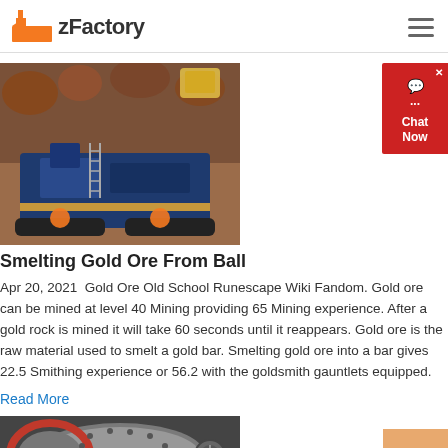zFactory
[Figure (photo): Blue mobile crushing machine on a mining site with red/brown earth and a yellow excavator bucket in the background]
Smelting Gold Ore From Ball
Apr 20, 2021  Gold Ore Old School Runescape Wiki Fandom. Gold ore can be mined at level 40 Mining providing 65 Mining experience. After a gold rock is mined it will take 60 seconds until it reappears. Gold ore is the raw material used to smelt a gold bar. Smelting gold ore into a bar gives 22.5 Smithing experience or 56.2 with the goldsmith gauntlets equipped.
Read More
[Figure (photo): Close-up of industrial ball mill drum with perforated metal surface, red flange ring visible]